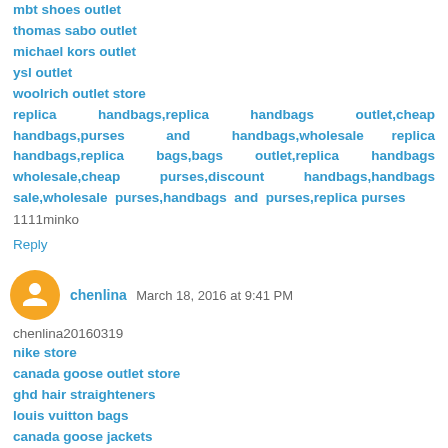mbt shoes outlet
thomas sabo outlet
michael kors outlet
ysl outlet
woolrich outlet store
replica handbags,replica handbags outlet,cheap handbags,purses and handbags,wholesale replica handbags,replica bags,bags outlet,replica handbags wholesale,cheap purses,discount handbags,handbags sale,wholesale purses,handbags and purses,replica purses
1111minko
Reply
chenlina March 18, 2016 at 9:41 PM
chenlina20160319
nike store
canada goose outlet store
ghd hair straighteners
louis vuitton bags
canada goose jackets